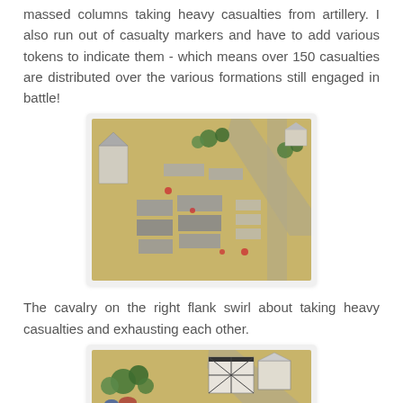massed columns taking heavy casualties from artillery. I also run out of casualty markers and have to add various tokens to indicate them - which means over 150 casualties are distributed over the various formations still engaged in battle!
[Figure (photo): Top-down view of a miniature wargame battlefield showing massed infantry formations on a sandy/tan gaming mat with roads, trees, and a church building on the left side.]
The cavalry on the right flank swirl about taking heavy casualties and exhausting each other.
[Figure (photo): Top-down view of a miniature wargame battlefield showing cavalry units near trees and a half-timbered building, on a sandy/tan gaming mat with a road running diagonally.]